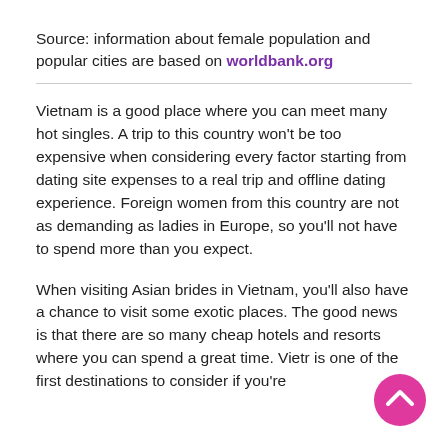Source: information about female population and popular cities are based on worldbank.org
Vietnam is a good place where you can meet many hot singles. A trip to this country won’t be too expensive when considering every factor starting from dating site expenses to a real trip and offline dating experience. Foreign women from this country are not as demanding as ladies in Europe, so you’ll not have to spend more than you expect.
When visiting Asian brides in Vietnam, you’ll also have a chance to visit some exotic places. The good news is that there are so many cheap hotels and resorts where you can spend a great time. Vietr is one of the first destinations to consider if you’re